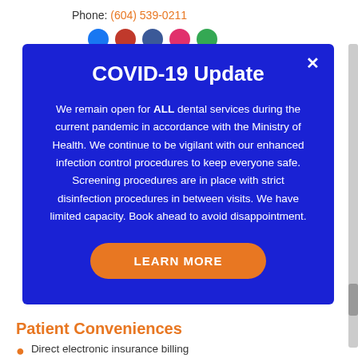Phone: (604) 539-0211
[Figure (other): Row of social media icon circles: Facebook (blue), YouTube (red), LinkedIn (blue-grey), Instagram (pink), Google (green)]
COVID-19 Update
We remain open for ALL dental services during the current pandemic in accordance with the Ministry of Health. We continue to be vigilant with our enhanced infection control procedures to keep everyone safe. Screening procedures are in place with strict disinfection procedures in between visits. We have limited capacity. Book ahead to avoid disappointment.
LEARN MORE
Patient Conveniences
Direct electronic insurance billing